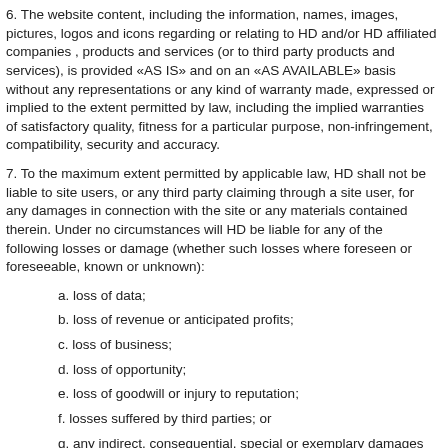6. The website content, including the information, names, images, pictures, logos and icons regarding or relating to HD and/or HD affiliated companies , products and services (or to third party products and services), is provided «AS IS» and on an «AS AVAILABLE» basis without any representations or any kind of warranty made, expressed or implied to the extent permitted by law, including the implied warranties of satisfactory quality, fitness for a particular purpose, non-infringement, compatibility, security and accuracy.
7. To the maximum extent permitted by applicable law, HD shall not be liable to site users, or any third party claiming through a site user, for any damages in connection with the site or any materials contained therein. Under no circumstances will HD be liable for any of the following losses or damage (whether such losses where foreseen or foreseeable, known or unknown):
a. loss of data;
b. loss of revenue or anticipated profits;
c. loss of business;
d. loss of opportunity;
e. loss of goodwill or injury to reputation;
f. losses suffered by third parties; or
g. any indirect, consequential, special or exemplary damages arising from the use of the website regardless of the form of action
8. HD does not warrant that functions contained in the website content will be